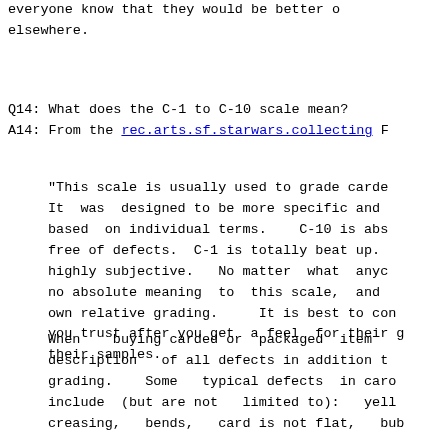everyone know that they would be better off elsewhere.
Q14: What does the C-1 to C-10 scale mean?
A14: From the rec.arts.sf.starwars.collecting F
"This scale is usually used to grade carde It was designed to be more specific and based on individual terms.   C-10 is abs free of defects.  C-1 is totally beat up. highly subjective.  No matter what anyc no absolute meaning to this scale, and own relative grading.   It is best to con you trust after you get a feel for their g their samples.
When   buying carded or packaged item description  of all defects in addition t grading.   Some  typical defects in caro include (but are not  limited to):  yell creasing,  bends,  card is not flat,  bub